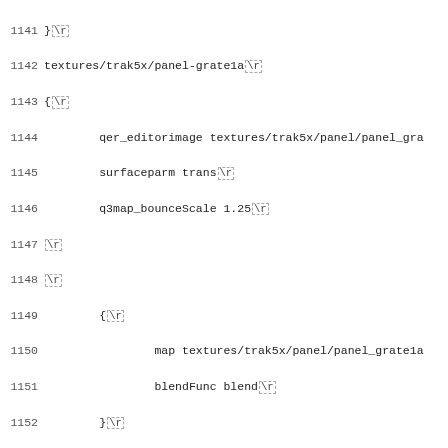Code listing lines 1141-1172, shader definitions for textures/trak5x/panel-grate1a and textures/trak5x/panel-grate2a